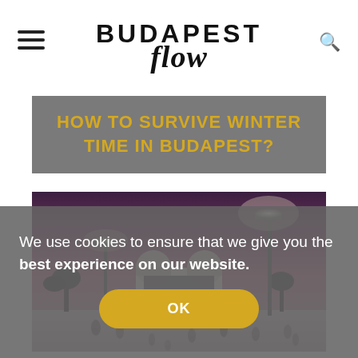Budapest Flow — navigation header with hamburger menu and search icon
HOW TO SURVIVE WINTER TIME IN BUDAPEST?
[Figure (photo): Night/dusk photo of Budapest's Városliget ice skating rink with floodlights illuminating the scene, a historic building with dome visible in the background against a purple-pink sky, skaters on the ice in the foreground.]
We use cookies to ensure that we give you the best experience on our website.